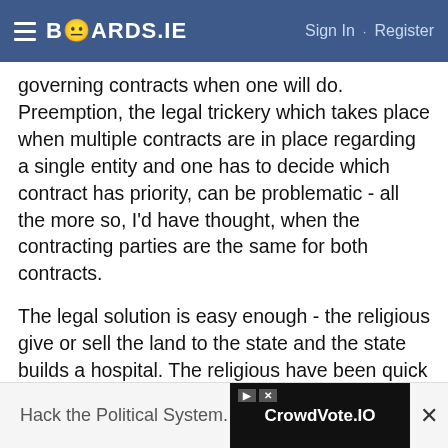BOARDS.IE  Sign In · Register
governing contracts when one will do. Preemption, the legal trickery which takes place when multiple contracts are in place regarding a single entity and one has to decide which contract has priority, can be problematic - all the more so, I'd have thought, when the contracting parties are the same for both contracts.
The legal solution is easy enough - the religious give or sell the land to the state and the state builds a hospital. The religious have been quick enough to sell land to developers to build accommodation where, presumably, gay sex has taken place, so they've clearly no objection to selling something for cash, where things subsequently take place which are contrary to their
[Figure (screenshot): Advertisement banner: 'Hack the Political System.' with CrowdVote.IO logo on black background]